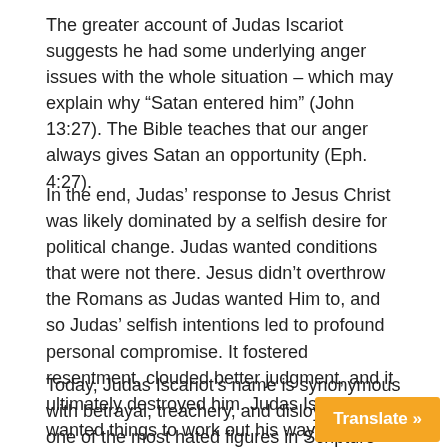The greater account of Judas Iscariot suggests he had some underlying anger issues with the whole situation – which may explain why “Satan entered him” (John 13:27). The Bible teaches that our anger always gives Satan an opportunity (Eph. 4:27).
In the end, Judas’ response to Jesus Christ was likely dominated by a selfish desire for political change. Judas wanted conditions that were not there. Jesus didn’t overthrow the Romans as Judas wanted Him to, and so Judas’ selfish intentions led to profound personal compromise. It fostered resentment, clouded better judgment, and it ultimately destroyed him. Judas Iscariot wanted things to work out his way – not Jesus’ way. When Jesus didn’t do what Judas most wanted Him to do, Judas was through with Him.
Today, Judas Iscariot’s name is synonymous with betrayal, treachery, and disloyalty. He’s one of the most hated figures in Scripture – so it’s not without some hesitation that I suggest his patterns are often our own.